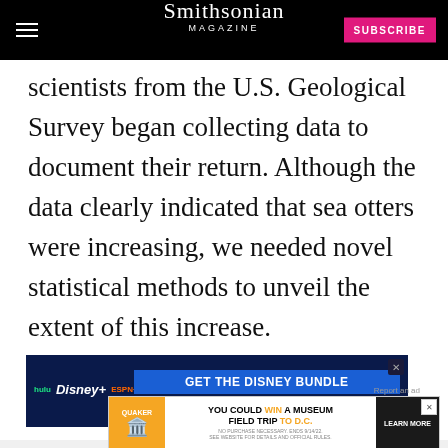Smithsonian Magazine
scientists from the U.S. Geological Survey began collecting data to document their return. Although the data clearly indicated that sea otters were increasing, we needed novel statistical methods to unveil the extent of this increase.
[Figure (screenshot): Advertisement for Disney Bundle (Hulu, Disney+, ESPN+) — 'GET THE DISNEY BUNDLE' with fine print about access and 2021 Disney copyright notice.]
First, [partially obscured text] ...ising parti[ally obscured text] ...e growth and spread of sea otters. Partial